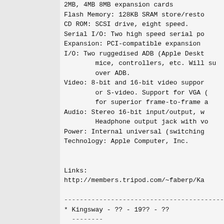2MB, 4MB 8MB expansion cards
Flash Memory: 128KB SRAM store/resto
CD ROM: SCSI drive, eight speed.
Serial I/O: Two high speed serial po
Expansion: PCI-compatible expansion
I/O: Two ruggedised ADB (Apple Deskt
        mice, controllers, etc. Will su
        over ADB.
Video: 8-bit and 16-bit video suppor
        or S-video. Support for VGA (
        for superior frame-to-frame a
Audio: Stereo 16-bit input/output, w
        Headphone output jack with vo
Power: Internal universal (switching
Technology: Apple Computer, Inc.
Links:
http://members.tripod.com/~faberp/Ka
--------------------------------------------
* Kingsway - ?? - 19?? - ??
  --------
  64-in-1 Atari 2600 clone.

--------------------------------------------
* Leisure-Vision - Leisure-Dynamics -